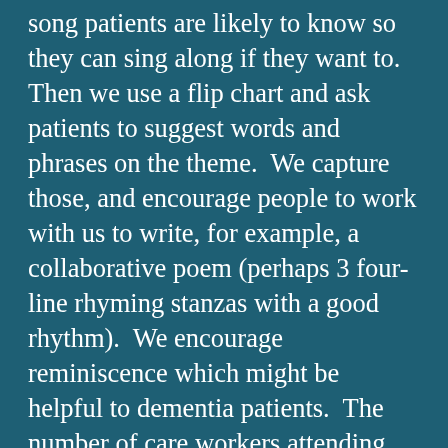song patients are likely to know so they can sing along if they want to.  Then we use a flip chart and ask patients to suggest words and phrases on the theme.  We capture those, and encourage people to work with us to write, for example, a collaborative poem (perhaps 3 four-line rhyming stanzas with a good rhythm).  We encourage reminiscence which might be helpful to dementia patients.  The number of care workers attending the two information-sharing sessions averaged around 20-25.  It was good to discuss with them how poetry might help patients, and to consider suggestions from the care workers how our little CPS team might improve our sessions.  More volunteers are needed, so if you live or work in Cheltenham or Gloucester, and would like more information about serving your society in this way, please do get in touch.  It is both rewarding and enjoyable!